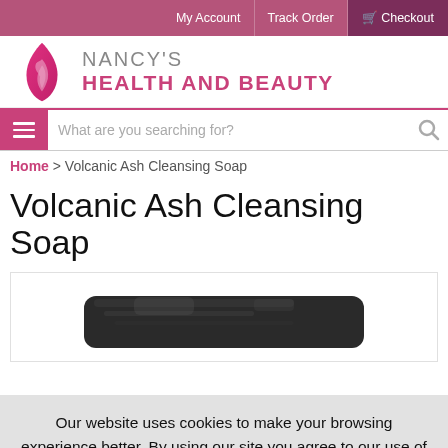My Account | Track Order | Checkout
[Figure (logo): Nancy's Health and Beauty logo with pink flame icon]
What are you searching for?
Home > Volcanic Ash Cleansing Soap
Volcanic Ash Cleansing Soap
[Figure (photo): Dark grey/black bar of volcanic ash cleansing soap on white background]
Our website uses cookies to make your browsing experience better. By using our site you agree to our use of cookies. Learn More
I Agree